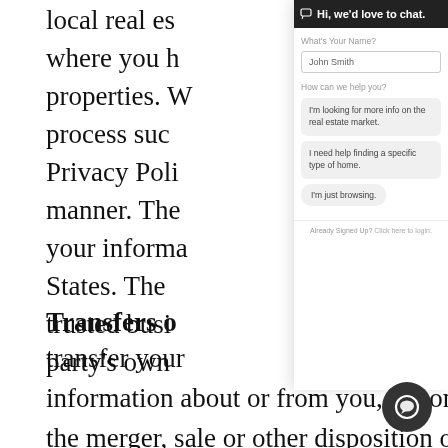local real es... where you h... properties. W... process suc... Privacy Polic... manner. The... your informa... States. The... trusted busi... party's own p...
[Figure (screenshot): Chat widget overlay panel with header 'Hi, we'd love to chat!', name input field showing 'John Smith', help options 'How can we help you?' with three clickable responses: 'I'm looking for more info on the real estate market.', 'I need help finding a specific type of home.', 'I'm just browsing.', and a footer 'Already Signed Up? Click here to login.']
Transfers o...
transfer your... information about or from you, in connection with the merger, sale or other disposition of all o... of our business and/or assets. We cannot make any